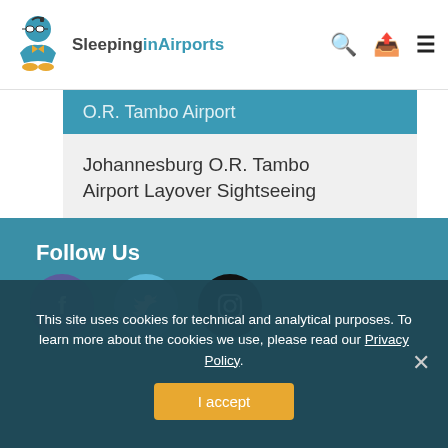Sleeping in Airports
O.R. Tambo Airport
Johannesburg O.R. Tambo Airport Layover Sightseeing
Follow Us
[Figure (illustration): Social media icons: Facebook (purple circle), Twitter (blue circle), Instagram (black circle)]
This site uses cookies for technical and analytical purposes. To learn more about the cookies we use, please read our Privacy Policy.
I accept